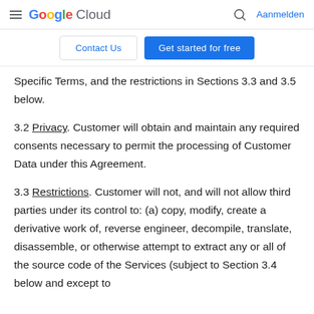Google Cloud — Aanmelden
Contact Us | Get started for free
Specific Terms, and the restrictions in Sections 3.3 and 3.5 below.
3.2 Privacy. Customer will obtain and maintain any required consents necessary to permit the processing of Customer Data under this Agreement.
3.3 Restrictions. Customer will not, and will not allow third parties under its control to: (a) copy, modify, create a derivative work of, reverse engineer, decompile, translate, disassemble, or otherwise attempt to extract any or all of the source code of the Services (subject to Section 3.4 below and except to